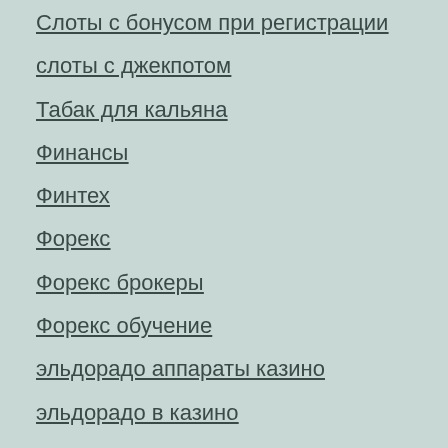Слоты с бонусом при регистрации
слоты с джекпотом
Табак для кальяна
Финансы
Финтех
Форекс
Форекс брокеры
Форекс обучение
эльдорадо аппараты казино
эльдорадо в казино
Meta
Log in
Entries feed